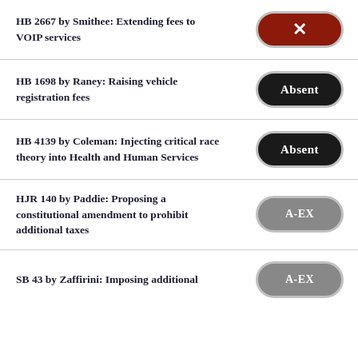HB 2667 by Smithee: Extending fees to VOIP services
HB 1698 by Raney: Raising vehicle registration fees
HB 4139 by Coleman: Injecting critical race theory into Health and Human Services
HJR 140 by Paddie: Proposing a constitutional amendment to prohibit additional taxes
SB 43 by Zaffirini: Imposing additional